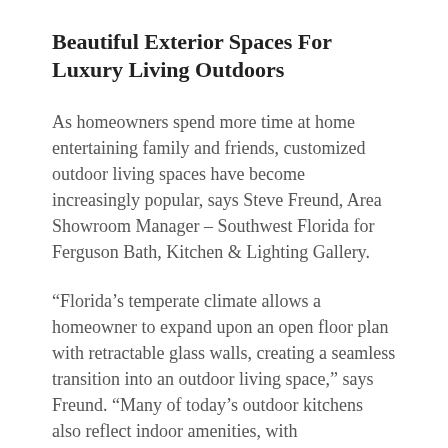Beautiful Exterior Spaces For Luxury Living Outdoors
As homeowners spend more time at home entertaining family and friends, customized outdoor living spaces have become increasingly popular, says Steve Freund, Area Showroom Manager – Southwest Florida for Ferguson Bath, Kitchen & Lighting Gallery.
“Florida’s temperate climate allows a homeowner to expand upon an open floor plan with retractable glass walls, creating a seamless transition into an outdoor living space,” says Freund. “Many of today’s outdoor kitchens also reflect indoor amenities, with